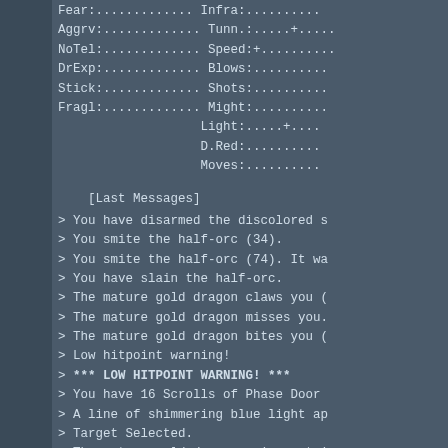Fear:............. Infra:..........
Aggrv:............. Tunn.:.....+.....
NoTel:............. Speed:+..........
DrExp:............. Blows:..........
Stick:............. Shots:..........
Fragl:............. Might:..........
                   Light:.....+....
                   D.Red:..........
                   Moves:..........
[Last Messages]
> You have disarmed the discolored s
> You smite the half-orc (34).
> You smite the half-orc (74). It wa
> You have slain the half-orc.
> The mature gold dragon claws you (
> The mature gold dragon misses you.
> The mature gold dragon bites you (
> Low hitpoint warning!
> *** LOW HITPOINT WARNING! ***
> You have 16 Scrolls of Phase Door
> A line of shimmering blue light ap
> Target Selected.
> The mature gold dragon cries out i
> The mature gold dragon breathes so
> You die.
Killed by a mature gold dragon.